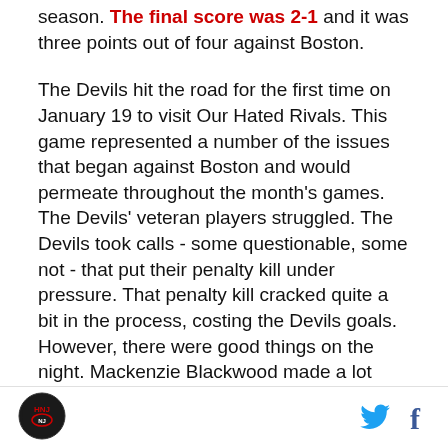season. The final score was 2-1 and it was three points out of four against Boston.
The Devils hit the road for the first time on January 19 to visit Our Hated Rivals. This game represented a number of the issues that began against Boston and would permeate throughout the month's games. The Devils' veteran players struggled. The Devils took calls - some questionable, some not - that put their penalty kill under pressure. That penalty kill cracked quite a bit in the process, costing the Devils goals. However, there were good things on the night. Mackenzie Blackwood made a lot (47) of saves. Jack Hughes emerged in the second period and put up a three-point night with two goals to lead the Devils with a four goal
Logo | Twitter | Facebook